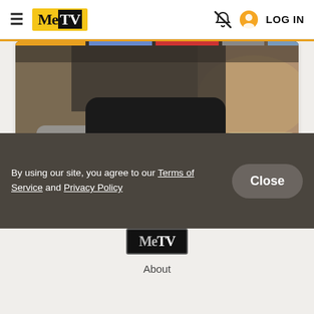MeTV — LOG IN
[Figure (photo): A collection of cowboy hats — a dark black hat in the center foreground, a grey hat on the left, and a cream/tan hat on the right, with a rocky background.]
Can you match these hats to the correct cowboy?
By using our site, you agree to our Terms of Service and Privacy Policy
Close
[Figure (logo): MeTV logo in footer]
About